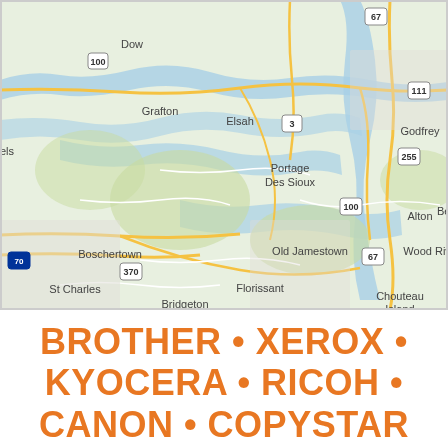[Figure (map): Google Maps view showing the St. Louis metro area region including towns such as Grafton, Elsah, Portage Des Sioux, Old Jamestown, Boschertown, St Charles, Florissant, Bridgeton, Godfrey, Alton, Wood River, Bethalt, Chouteau Island, and Dow. Major highways including routes 67, 100, 111, 255, 3, 370, and Interstate 70 are shown. The Mississippi and Missouri Rivers are visible as blue waterways.]
BROTHER • XEROX • KYOCERA • RICOH • CANON • COPYSTAR